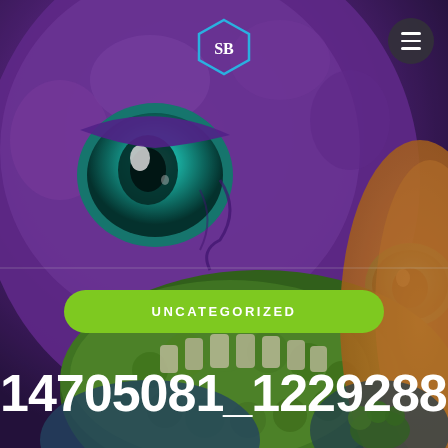[Figure (illustration): Digital illustration of a purple monster/creature face with large teal eyes, green bumpy open mouth with teeth, on a dark purple and orange background. Website screenshot with navigation elements overlaid.]
UNCATEGORIZED
14705081_1229288307157611